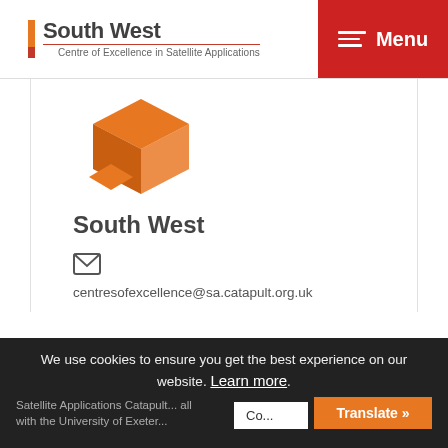[Figure (logo): South West Centre of Excellence in Satellite Applications logo with orange/red vertical bar accent]
[Figure (illustration): Orange 3D box and diamond shapes icon for South West region]
South West
[Figure (other): Email envelope icon]
centresofexcellence@sa.catapult.org.uk
We use cookies to ensure you get the best experience on our website. Learn more.
Satellite Applications Catapult... with the University of Exeter...
Translate »